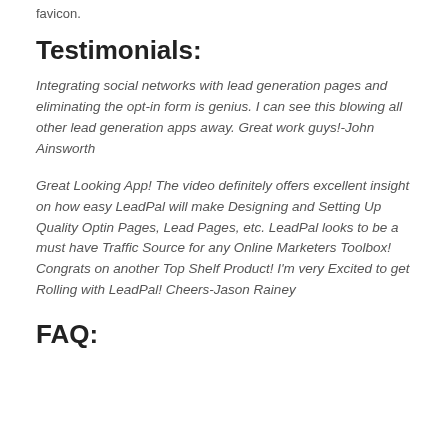favicon.
Testimonials:
Integrating social networks with lead generation pages and eliminating the opt-in form is genius. I can see this blowing all other lead generation apps away. Great work guys!-John Ainsworth
Great Looking App! The video definitely offers excellent insight on how easy LeadPal will make Designing and Setting Up Quality Optin Pages, Lead Pages, etc. LeadPal looks to be a must have Traffic Source for any Online Marketers Toolbox! Congrats on another Top Shelf Product! I'm very Excited to get Rolling with LeadPal! Cheers-Jason Rainey
FAQ: